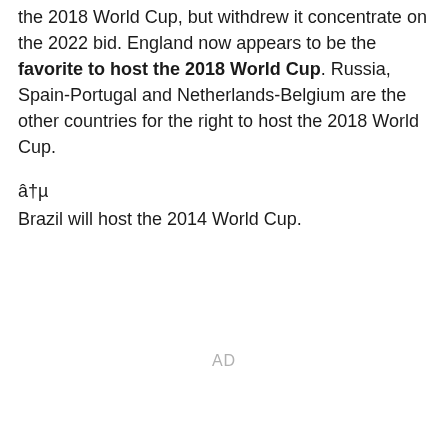the 2018 World Cup, but withdrew it concentrate on the 2022 bid. England now appears to be the favorite to host the 2018 World Cup. Russia, Spain-Portugal and Netherlands-Belgium are the other countries for the right to host the 2018 World Cup.
â†µ
Brazil will host the 2014 World Cup.
AD